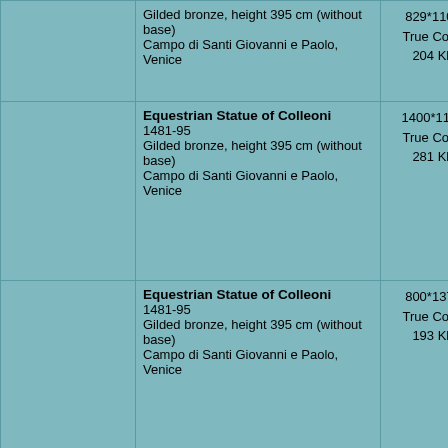| Thumbnail | Description | Image Info | Icon |
| --- | --- | --- | --- |
| (image) | Equestrian Statue of Colleoni
1481-95
Gilded bronze, height 395 cm (without base)
Campo di Santi Giovanni e Paolo, Venice | 829*1100
True Color
204 Kb | i |
| (image) | Equestrian Statue of Colleoni
1481-95
Gilded bronze, height 395 cm (without base)
Campo di Santi Giovanni e Paolo, Venice | 1400*1167
True Color
281 Kb | i |
| (image) | Equestrian Statue of Colleoni
1481-95
Gilded bronze, height 395 cm (without base)
Campo di Santi Giovanni e Paolo, Venice | 800*1373
True Color
193 Kb | i |
| (image) | Equestrian Statue of Colleoni
1481-95
Gilded bronze, height 395 cm (without base)
Campo di Santi Giovanni e Paolo, Venice | 800*1201
True Color
155 Kb | i |
| (image) | Equestrian Statue of Colleoni
1481-95
Gilded bronze, height 395 cm (without base)
Campo di Santi Giovanni e Paolo, Venice | 847*1500
True Color
208 Kb | i |